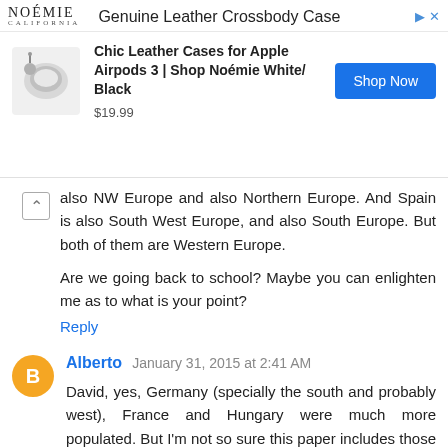[Figure (screenshot): Advertisement banner for Noémie Genuine Leather Crossbody Case. Shows logo, product image of AirPods case, description 'Chic Leather Cases for Apple Airpods 3 | Shop Noémie White/Black', price $19.99, and Shop Now button.]
also NW Europe and also Northern Europe. And Spain is also South West Europe, and also South Europe. But both of them are Western Europe.
Are we going back to school? Maybe you can enlighten me as to what is your point?
Reply
Alberto  January 31, 2015 at 2:41 AM
David, yes, Germany (specially the south and probably west), France and Hungary were much more populated. But I'm not so sure this paper includes those places when talking about 75% ancestry from Yamna.
We'll have to wait for the paper, but France is probably out of the question, while Hungary and Germany might be